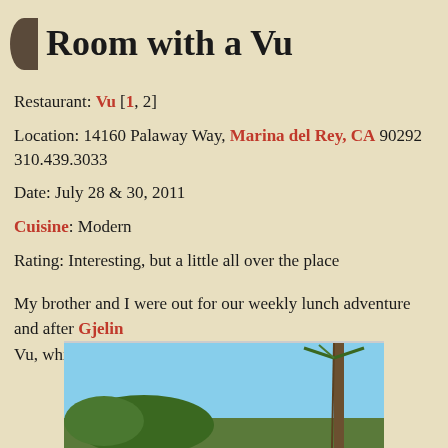Room with a Vu
Restaurant: Vu [1, 2]
Location: 14160 Palaway Way, Marina del Rey, CA 90292 310.439.3033
Date: July 28 & 30, 2011
Cuisine: Modern
Rating: Interesting, but a little all over the place
My brother and I were out for our weekly lunch adventure and after Gjelin Vu, which I had tried a couple months ago for dinner.
[Figure (photo): Outdoor photo showing palm trees against a blue sky, bottom portion of the image visible]